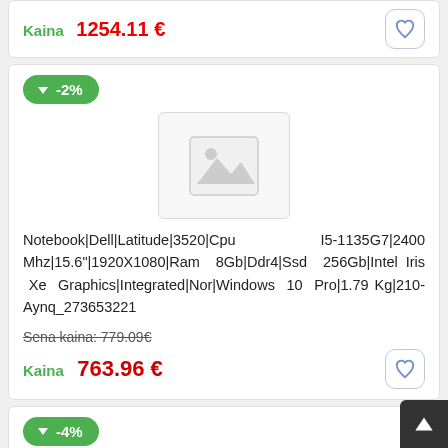Kaina  1254.11 €
-2%
[Figure (illustration): Placeholder product image with mountain/landscape icon]
Notebook|Dell|Latitude|3520|Cpu I5-1135G7|2400 Mhz|15.6"|1920X1080|Ram 8Gb|Ddr4|Ssd 256Gb|Intel Iris Xe Graphics|Integrated|Nor|Windows 10 Pro|1.79 Kg|210-Aynq_273653221
Sena kaina: 779.09€
Kaina  763.96 €
-4%
[Figure (illustration): Placeholder product image with mountain/landscape icon (partial second card)]